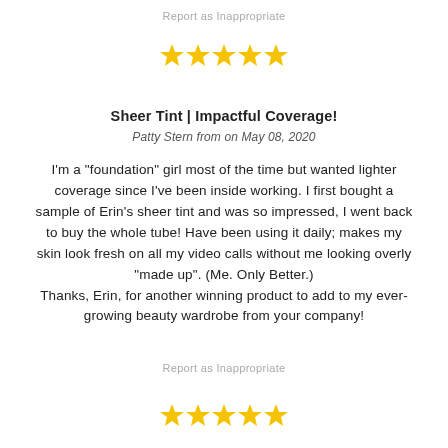Report as Inappropriate
[Figure (other): Five gold/yellow stars rating]
Sheer Tint | Impactful Coverage!
Patty Stern from on May 08, 2020
I'm a "foundation" girl most of the time but wanted lighter coverage since I've been inside working. I first bought a sample of Erin's sheer tint and was so impressed, I went back to buy the whole tube! Have been using it daily; makes my skin look fresh on all my video calls without me looking overly "made up". (Me. Only Better.)
Thanks, Erin, for another winning product to add to my ever-growing beauty wardrobe from your company!
Report as Inappropriate
[Figure (other): Five gold/yellow stars rating]